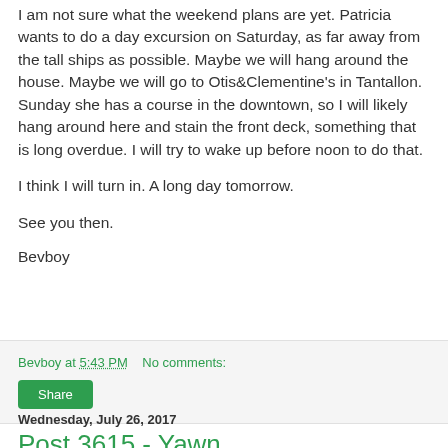I am not sure what the weekend plans are yet. Patricia wants to do a day excursion on Saturday, as far away from the tall ships as possible. Maybe we will hang around the house. Maybe we will go to Otis&Clementine's in Tantallon. Sunday she has a course in the downtown, so I will likely hang around here and stain the front deck, something that is long overdue. I will try to wake up before noon to do that.
I think I will turn in. A long day tomorrow.
See you then.
Bevboy
Bevboy at 5:43 PM    No comments:
Share
Wednesday, July 26, 2017
Post 3615 - Yawn